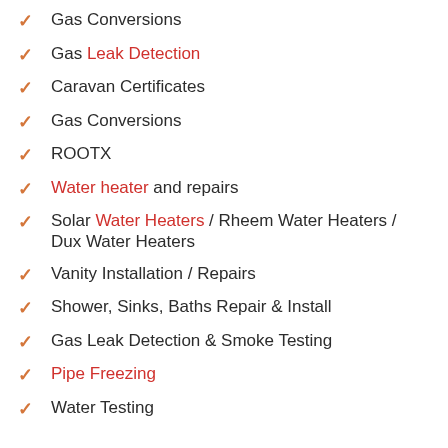Gas Conversions
Gas Leak Detection
Caravan Certificates
Gas Conversions
ROOTX
Water heater and repairs
Solar Water Heaters / Rheem Water Heaters / Dux Water Heaters
Vanity Installation / Repairs
Shower, Sinks, Baths Repair & Install
Gas Leak Detection & Smoke Testing
Pipe Freezing
Water Testing